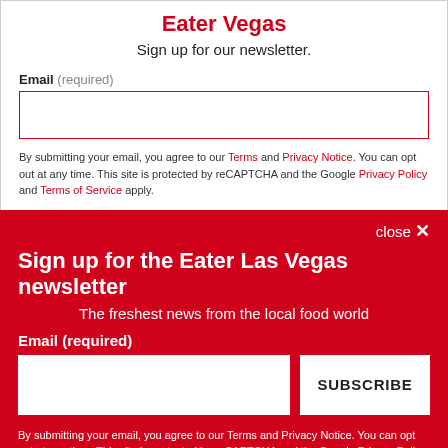Eater Vegas
Sign up for our newsletter.
Email (required)
By submitting your email, you agree to our Terms and Privacy Notice. You can opt out at any time. This site is protected by reCAPTCHA and the Google Privacy Policy and Terms of Service apply.
close ×
Sign up for the Eater Las Vegas newsletter
The freshest news from the local food world
Email (required)
SUBSCRIBE
By submitting your email, you agree to our Terms and Privacy Notice. You can opt out at any time. This site is protected by reCAPTCHA and the Google Privacy Policy and Terms of Service apply.